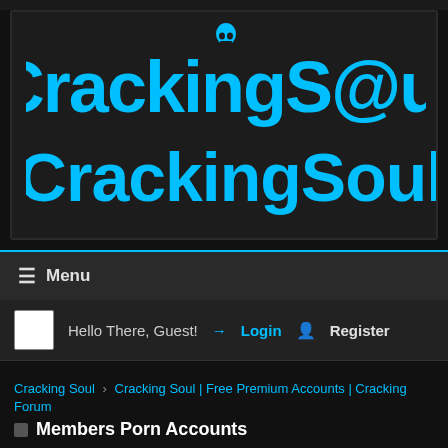[Figure (logo): CrackingSoul forum logo with cyan/blue stylized text and skull icon]
☰ Menu
Hello There, Guest! → Login  Register
Cracking Soul › Cracking Soul | Free Premium Accounts | Cracking Forum
Members Porn Accounts
Moderated By: ☆ ☆ 454subash
Users browsing this forum: 11 Guest(s)
Members Porn Accounts Section Rules
Pages (335) 1 … 415 416 417 418 419 …